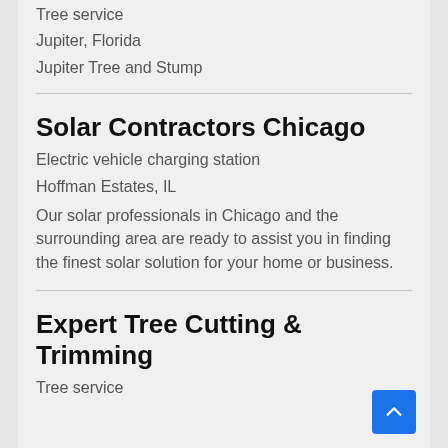Tree service
Jupiter, Florida
Jupiter Tree and Stump
Solar Contractors Chicago
Electric vehicle charging station
Hoffman Estates, IL
Our solar professionals in Chicago and the surrounding area are ready to assist you in finding the finest solar solution for your home or business.
Expert Tree Cutting & Trimming
Tree service